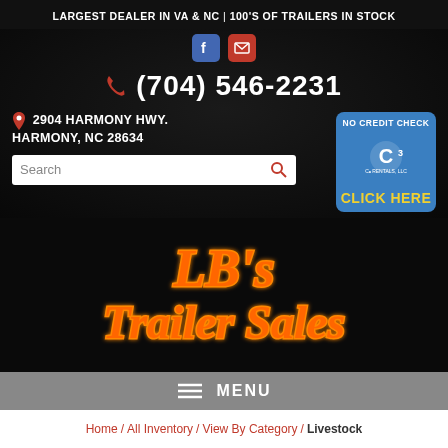LARGEST DEALER IN VA & NC | 100'S OF TRAILERS IN STOCK
(704) 546-2231
2904 HARMONY HWY. HARMONY, NC 28634
[Figure (infographic): Blue button with NO CREDIT CHECK text, C3 Rentals LLC logo, and CLICK HERE in yellow]
[Figure (logo): LB's Trailer Sales logo in orange rope-style lettering on dark background]
MENU
Home / All Inventory / View By Category / Livestock